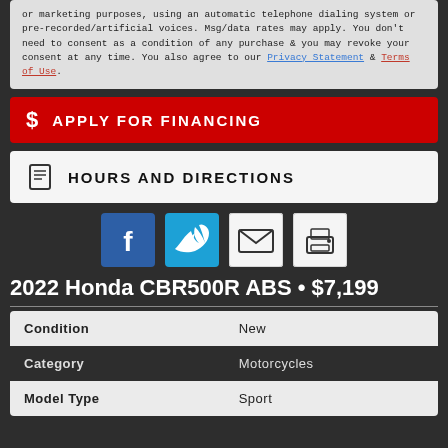or marketing purposes, using an automatic telephone dialing system or pre-recorded/artificial voices. Msg/data rates may apply. You don't need to consent as a condition of any purchase & you may revoke your consent at any time. You also agree to our Privacy Statement & Terms of Use.
$ APPLY FOR FINANCING
HOURS AND DIRECTIONS
[Figure (infographic): Social media share icons: Facebook (blue), Twitter (light blue), Email (white envelope), Print (white printer)]
2022 Honda CBR500R ABS • $7,199
| Condition | New |
| Category | Motorcycles |
| Model Type | Sport |